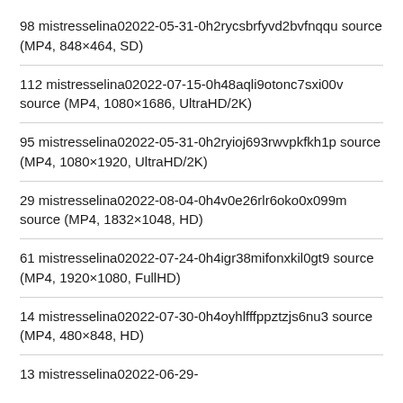98 mistresselina02022-05-31-0h2rycsbrfyvd2bvfnqqu source (MP4, 848×464, SD)
112 mistresselina02022-07-15-0h48aqli9otonc7sxi00v source (MP4, 1080×1686, UltraHD/2K)
95 mistresselina02022-05-31-0h2ryioj693rwvpkfkh1p source (MP4, 1080×1920, UltraHD/2K)
29 mistresselina02022-08-04-0h4v0e26rlr6oko0x099m source (MP4, 1832×1048, HD)
61 mistresselina02022-07-24-0h4igr38mifonxkil0gt9 source (MP4, 1920×1080, FullHD)
14 mistresselina02022-07-30-0h4oyhlfffppztzjs6nu3 source (MP4, 480×848, HD)
13 mistresselina02022-06-29-